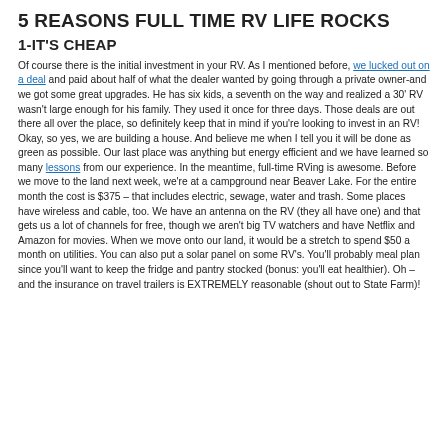5 REASONS FULL TIME RV LIFE ROCKS
1-IT'S CHEAP
Of course there is the initial investment in your RV. As I mentioned before, we lucked out on a deal and paid about half of what the dealer wanted by going through a private owner-and we got some great upgrades. He has six kids, a seventh on the way and realized a 30' RV wasn't large enough for his family. They used it once for three days. Those deals are out there all over the place, so definitely keep that in mind if you're looking to invest in an RV! Okay, so yes, we are building a house. And believe me when I tell you it will be done as green as possible. Our last place was anything but energy efficient and we have learned so many lessons from our experience. In the meantime, full-time RVing is awesome. Before we move to the land next week, we're at a campground near Beaver Lake. For the entire month the cost is $375 – that includes electric, sewage, water and trash. Some places have wireless and cable, too. We have an antenna on the RV (they all have one) and that gets us a lot of channels for free, though we aren't big TV watchers and have Netflix and Amazon for movies. When we move onto our land, it would be a stretch to spend $50 a month on utilities. You can also put a solar panel on some RV's. You'll probably meal plan since you'll want to keep the fridge and pantry stocked (bonus: you'll eat healthier). Oh – and the insurance on travel trailers is EXTREMELY reasonable (shout out to State Farm)!